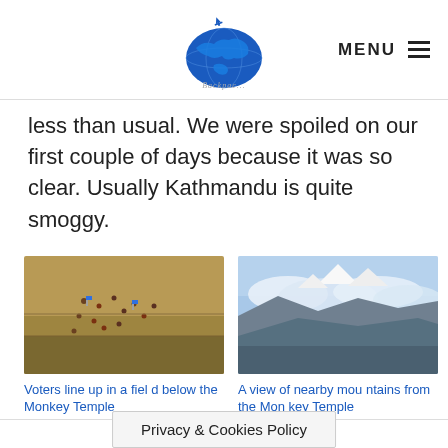Travel blog logo and MENU
less than usual. We were spoiled on our first couple of days because it was so clear. Usually Kathmandu is quite smoggy.
[Figure (photo): Aerial view of voters lining up in a field below the Monkey Temple]
Voters line up in a field below the Monkey Temple
[Figure (photo): A view of nearby mountains from the Monkey Temple, with clouds and blue sky]
A view of nearby mountains from the Monkey Temple
Privacy & Cookies Policy